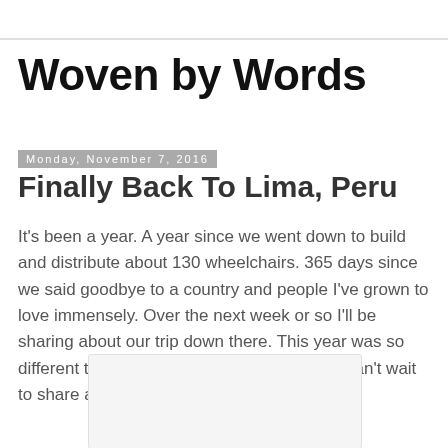Woven by Words
Monday, November 7, 2016
Finally Back To Lima, Peru
It's been a year. A year since we went down to build and distribute about 130 wheelchairs. 365 days since we said goodbye to a country and people I've grown to love immensely. Over the next week or so I'll be sharing about our trip down there. This year was so different than the past two trips I've taken. I can't wait to share about our experiences!
[Figure (photo): Placeholder image area at bottom of blog post]